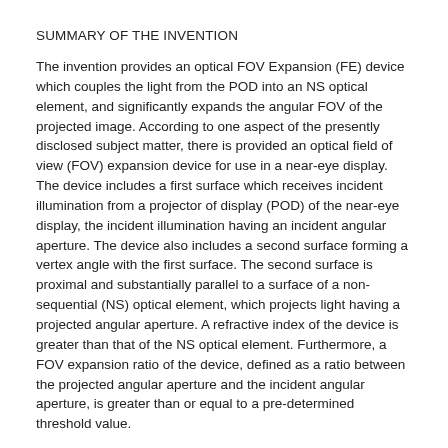SUMMARY OF THE INVENTION
The invention provides an optical FOV Expansion (FE) device which couples the light from the POD into an NS optical element, and significantly expands the angular FOV of the projected image. According to one aspect of the presently disclosed subject matter, there is provided an optical field of view (FOV) expansion device for use in a near-eye display. The device includes a first surface which receives incident illumination from a projector of display (POD) of the near-eye display, the incident illumination having an incident angular aperture. The device also includes a second surface forming a vertex angle with the first surface. The second surface is proximal and substantially parallel to a surface of a non-sequential (NS) optical element, which projects light having a projected angular aperture. A refractive index of the device is greater than that of the NS optical element. Furthermore, a FOV expansion ratio of the device, defined as a ratio between the projected angular aperture and the incident angular aperture, is greater than or equal to a pre-determined threshold value.